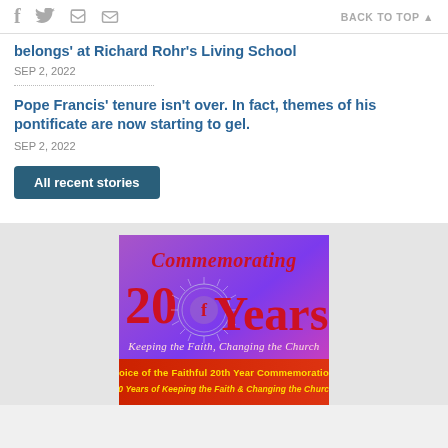f  [twitter]  [print]  [email]    BACK TO TOP ▲
belongs' at Richard Rohr's Living School
SEP 2, 2022
Pope Francis' tenure isn't over. In fact, themes of his pontificate are now starting to gel.
SEP 2, 2022
All recent stories
[Figure (illustration): Advertisement banner: 'Commemorating 20 Years – Keeping the Faith, Changing the Church' with Voice of the Faithful 20th Year Commemoration subtitle. Purple/red gradient background with decorative circular logo containing letter f.]